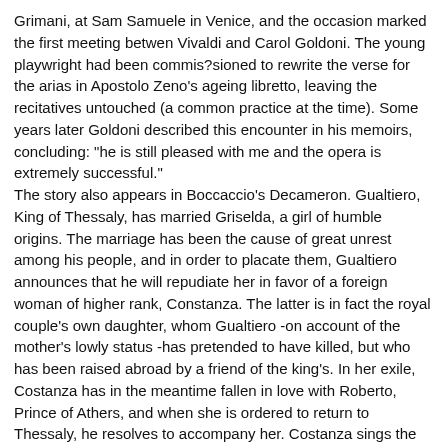Grimani, at Sam Samuele in Venice, and the occasion marked the first meeting betwen Vivaldi and Carol Goldoni. The young playwright had been commis?sioned to rewrite the verse for the arias in Apostolo Zeno's ageing libretto, leaving the recitatives untouched (a common practice at the time). Some years later Goldoni described this encounter in his memoirs, concluding: "he is still pleased with me and the opera is extremely successful."
The story also appears in Boccaccio's Decameron. Gualtiero, King of Thessaly, has married Griselda, a girl of humble origins. The marriage has been the cause of great unrest among his people, and in order to placate them, Gualtiero announces that he will repudiate her in favor of a foreign woman of higher rank, Constanza. The latter is in fact the royal couple's own daughter, whom Gualtiero -on account of the mother's lowly status -has pretended to have killed, but who has been raised abroad by a friend of the king's. In her exile, Costanza has in the meantime fallen in love with Roberto, Prince of Athers, and when she is ordered to return to Thessaly, he resolves to accompany her. Costanza sings the aria "Agitata da due venti" as she is about to leave Roberto and become Gualtiero's new bride.
Griselda proves her magnanimity and loyalty in the face of her humiliation, and Gualtiero, recognising that true courage and nobility...